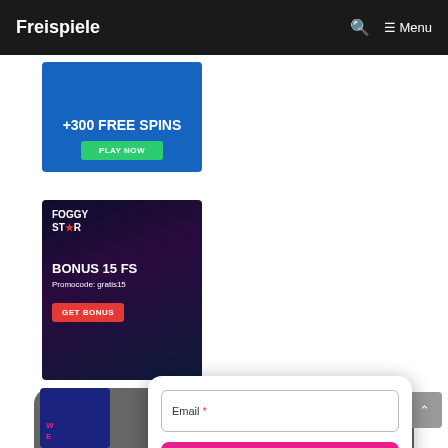Freispiele  Menu
[Figure (screenshot): Casino ad banner with +300 FREE SPINS and PLAY NOW button on blue background]
[Figure (screenshot): FOGGY STAR casino ad banner showing BONUS 15 FS, Promocode: gratis15, GET BONUS button on dark fantasy background with Zeus figure]
[Figure (screenshot): Email signup modal with Email* input field and Get Exclusive Bonuses! pink button on grey rounded background, with close X button]